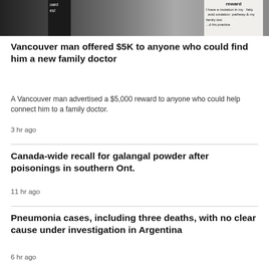[Figure (photo): Partial image showing a handwritten sign offering a reward, mentioning a mutation in fatty acid oxidation pathway and a family doctor closing their practice, against a blurred background.]
Vancouver man offered $5K to anyone who could find him a new family doctor
A Vancouver man advertised a $5,000 reward to anyone who could help connect him to a family doctor.
3 hr ago
Canada-wide recall for galangal powder after poisonings in southern Ont.
11 hr ago
Pneumonia cases, including three deaths, with no clear cause under investigation in Argentina
6 hr ago